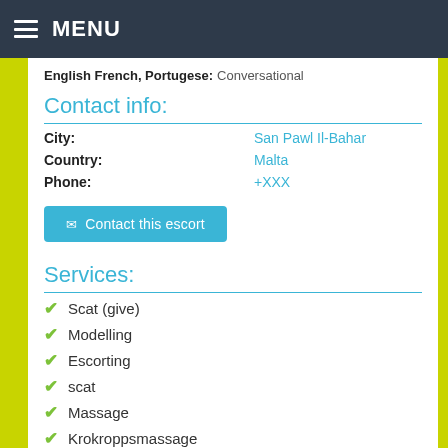MENU
English French, Portugese: Conversational
Contact info:
City: San Pawl Il-Bahar
Country: Malta
Phone: +XXX
Contact this escort
Services:
Scat (give)
Modelling
Escorting
scat
Massage
Krokroppsmassage